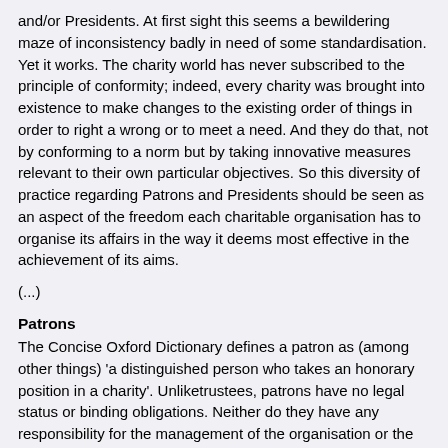and/or Presidents. At first sight this seems a bewildering maze of inconsistency badly in need of some standardisation. Yet it works. The charity world has never subscribed to the principle of conformity; indeed, every charity was brought into existence to make changes to the existing order of things in order to right a wrong or to meet a need. And they do that, not by conforming to a norm but by taking innovative measures relevant to their own particular objectives. So this diversity of practice regarding Patrons and Presidents should be seen as an aspect of the freedom each charitable organisation has to organise its affairs in the way it deems most effective in the achievement of its aims.
(...)
Patrons
The Concise Oxford Dictionary defines a patron as (among other things) 'a distinguished person who takes an honorary position in a charity'. Unliketrustees, patrons have no legal status or binding obligations. Neither do they have any responsibility for the management of the organisation or the manner in which funds are spent. Their role is, in most cases, that of a 'figurehead' or 'flag bearer', a leader whose example people are willing to follow and whose name can lend credibility and status to the organisation which, in turn, can increase the effectiveness of its fundraising, campaigning and public relations activities.